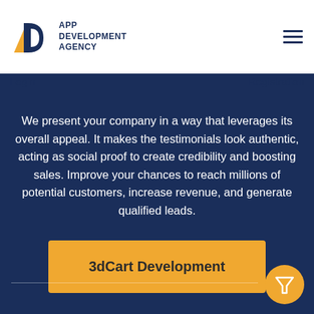[Figure (logo): App Development Agency logo with 'AD' geometric icon and text 'APP DEVELOPMENT AGENCY']
Login    Registration
We present your company in a way that leverages its overall appeal. It makes the testimonials look authentic, acting as social proof to create credibility and boosting sales. Improve your chances to reach millions of potential customers, increase revenue, and generate qualified leads.
3dCart Development
[Figure (infographic): Twitter and Facebook social media icons in white]